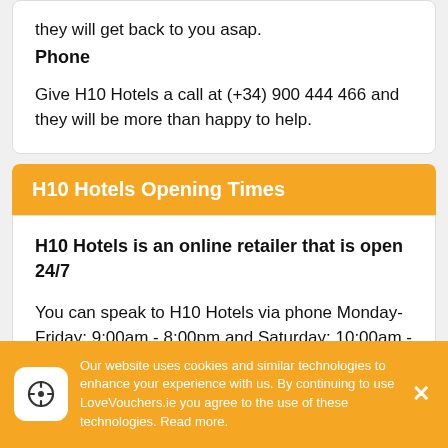they will get back to you asap.
Phone
Give H10 Hotels a call at (+34) 900 444 466 and they will be more than happy to help.
H10 Hotels Opening Times
H10 Hotels is an online retailer that is open 24/7
You can speak to H10 Hotels via phone Monday-Friday: 9:00am - 8:00pm and Saturday: 10:00am - 3:00pm.
Our website uses cookies and similar technologies to enhance your experience with us. By continuing to use LoveVouchers.ie you agree to the use of these technologies. Read more.